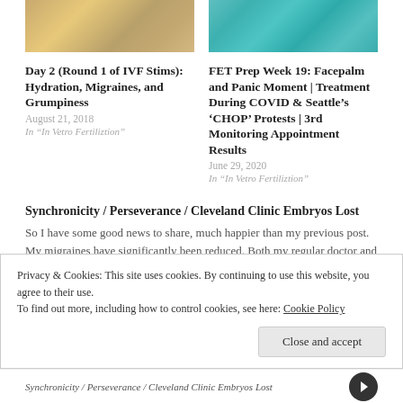[Figure (photo): Thumbnail image for IVF Stims blog post - warm toned decorative image]
[Figure (photo): Thumbnail image for FET Prep blog post - teal/turquoise toned decorative image]
Day 2 (Round 1 of IVF Stims): Hydration, Migraines, and Grumpiness
August 21, 2018
In “In Vetro Fertiliztion”
FET Prep Week 19: Facepalm and Panic Moment | Treatment During COVID & Seattle’s ‘CHOP’ Protests | 3rd Monitoring Appointment Results
June 29, 2020
In “In Vetro Fertiliztion”
Synchronicity / Perseverance / Cleveland Clinic Embryos Lost
So I have some good news to share, much happier than my previous post. My migraines have significantly been reduced. Both my regular doctor and
Privacy & Cookies: This site uses cookies. By continuing to use this website, you agree to their use.
To find out more, including how to control cookies, see here: Cookie Policy
Close and accept
Synchronicity / Perseverance / Cleveland Clinic Embryos Lost